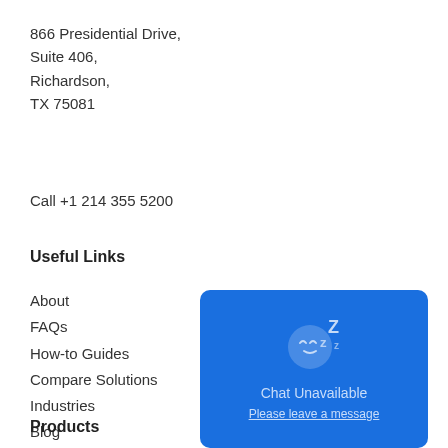866 Presidential Drive,
Suite 406,
Richardson,
TX 75081
Call +1 214 355 5200
Useful Links
About
FAQs
How-to Guides
Compare Solutions
Industries
Blog
Contact
[Figure (illustration): Blue chat widget showing a sleeping face emoji with Z's and text 'Chat Unavailable' and 'Please leave a message']
Products